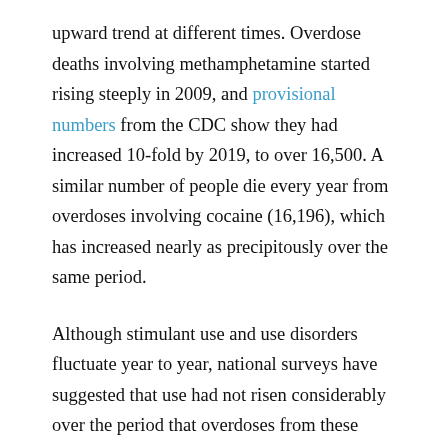upward trend at different times. Overdose deaths involving methamphetamine started rising steeply in 2009, and provisional numbers from the CDC show they had increased 10-fold by 2019, to over 16,500. A similar number of people die every year from overdoses involving cocaine (16,196), which has increased nearly as precipitously over the same period.
Although stimulant use and use disorders fluctuate year to year, national surveys have suggested that use had not risen considerably over the period that overdoses from these drugs escalated, which means that the increases in mortality are likely due to people using these drugs in combination with opioids like heroin or fentanyl or using products that have been laced with fentanyl without their knowledge. Fentanyl is a powerful synthetic opioid (80...